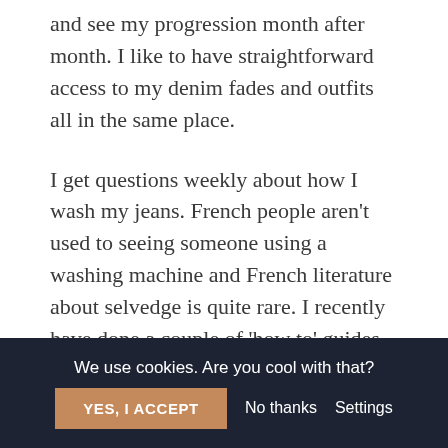and see my progression month after month. I like to have straightforward access to my denim fades and outfits all in the same place.
I get questions weekly about how I wash my jeans. French people aren't used to seeing someone using a washing machine and French literature about selvedge is quite rare. I recently have done a couple of 'how to' guides on my story to answer these questions.
I don't have any particular goals with Instagram
We use cookies. Are you cool with that?   YES, I ACCEPT   No thanks   Settings